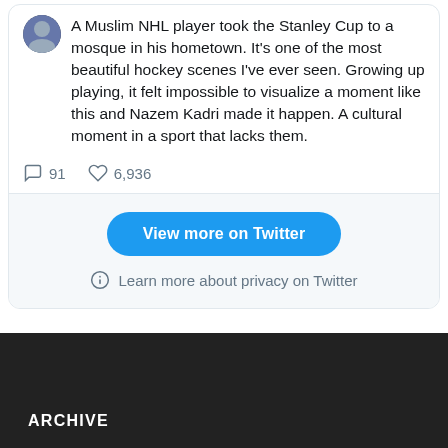A Muslim NHL player took the Stanley Cup to a mosque in his hometown. It's one of the most beautiful hockey scenes I've ever seen. Growing up playing, it felt impossible to visualize a moment like this and Nazem Kadri made it happen. A cultural moment in a sport that lacks them.
91 comments, 6,936 likes
View more on Twitter
Learn more about privacy on Twitter
ARCHIVE